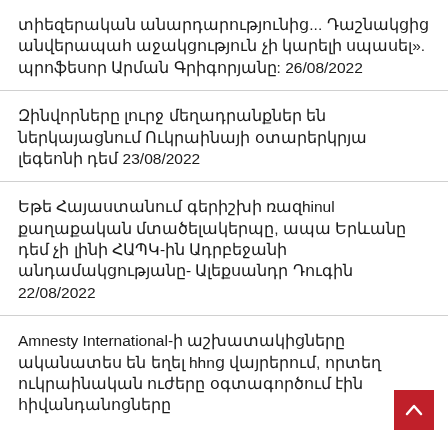տիեզերական անարդարությունից... Դաշնակցից անվերապահ աջակցություն չի կարելի սպասել». պրոֆեսոր Արման Գրիգորյանը: 26/08/2022
Զինվորները լուրջ մեղադրանքներ են ներկայացնում Ուկրաինայի օտարերկրյա լեգեոնի դեմ 23/08/2022
Եթե Հայաստանում գերիշխի ռազhinul քաղաքական մտածելակերպը, ապա Երևանը դեմ չի լինի ՀԱՊԿ-ին Ադրբեջանի անդամակցությանը- Ալեքսանդր Դուգին 22/08/2022
Amnesty International-ի աշխատակիցները ականատես են եղել hhnց վայրերում, որտեղ ուկրաինական ուժերը օգտագործում էին հիվանդանոցները